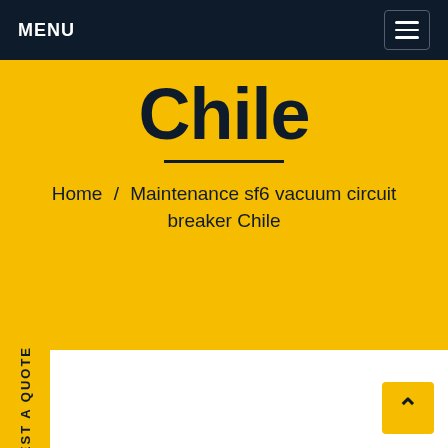MENU
Chile
Home / Maintenance sf6 vacuum circuit breaker Chile
REQUEST A QUOTE